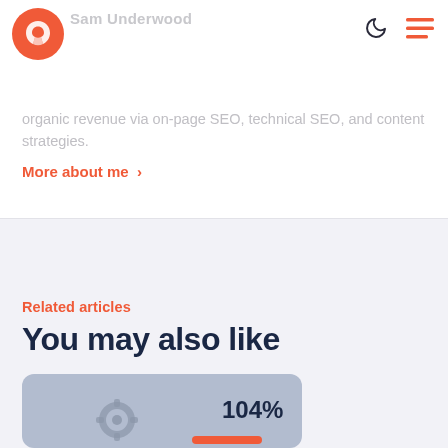Sam Underwood
organic revenue via on-page SEO, technical SEO, and content strategies.
More about me >
Related articles
You may also like
[Figure (illustration): Partial card preview showing a gray card with a gear icon and '104%' text with an orange bar graphic at the bottom]